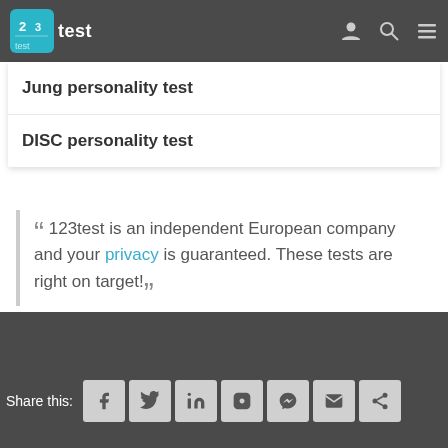123test — navigation bar with logo, user, search, and menu icons
Jung personality test
DISC personality test
“ 123test is an independent European company and your privacy is guaranteed. These tests are right on target! ”
Share this: [Facebook] [Twitter] [LinkedIn] [Instagram] [Messenger] [Email] [Other]